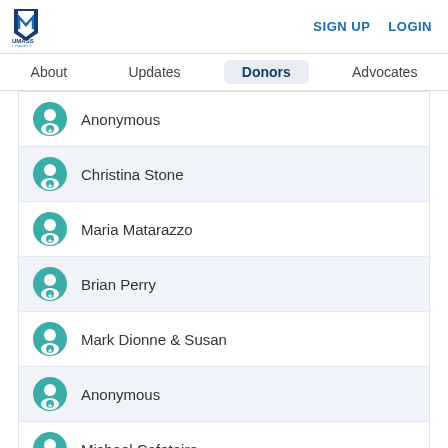UMass Lowell | SIGN UP  LOGIN
About
Updates
Donors
Advocates
Anonymous
Christina Stone
Maria Matarazzo
Brian Perry
Mark Dionne & Susan
Anonymous
Michael Cafeteiro
View All Donors